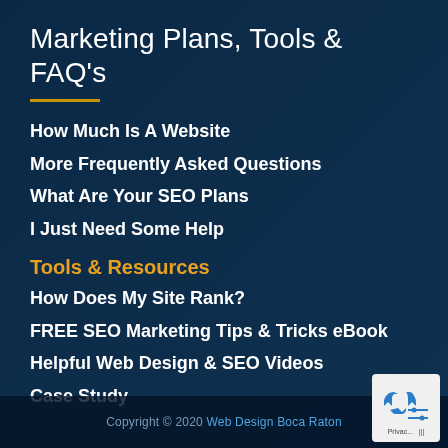Marketing Plans, Tools & FAQ's
How Much Is A Website
More Frequently Asked Questions
What Are Your SEO Plans
I Just Need Some Help
Tools & Resources
How Does My Site Rank?
FREE SEO Marketing Tips & Tricks eBook
Helpful Web Design & SEO Videos
Case Study
Copyright © 2020 Web Design Boca Raton
[Figure (logo): Web Design Boca Raton logo badge with blue recycling arrow icon and settings/sliders icon]